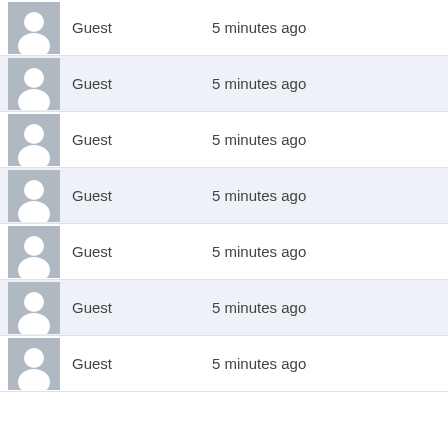Guest  5 minutes ago
Guest  5 minutes ago
Guest  5 minutes ago
Guest  5 minutes ago
Guest  5 minutes ago
Guest  5 minutes ago
Guest  5 minutes ago